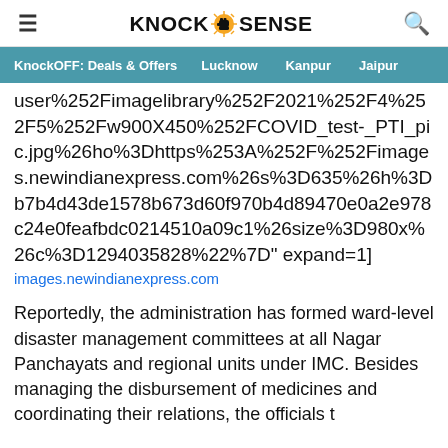KNOCK SENSE (with fist logo)
KnockOFF: Deals & Offers   Lucknow   Kanpur   Jaipur
user%252Fimagelibrary%252F2021%252F4%252F5%252Fw900X450%252FCOVID_test-_PTI_pic.jpg%26ho%3Dhttps%253A%252F%252Fimages.newindianexpress.com%26s%3D635%26h%3Db7b4d43de1578b673d60f970b4d89470e0a2e978c24e0feafbdc0214510a09c1%26size%3D980x%26c%3D1294035828%22%7D" expand=1]
images.newindianexpress.com
Reportedly, the administration has formed ward-level disaster management committees at all Nagar Panchayats and regional units under IMC. Besides managing the disbursement of medicines and coordinating their relations, the officials t...